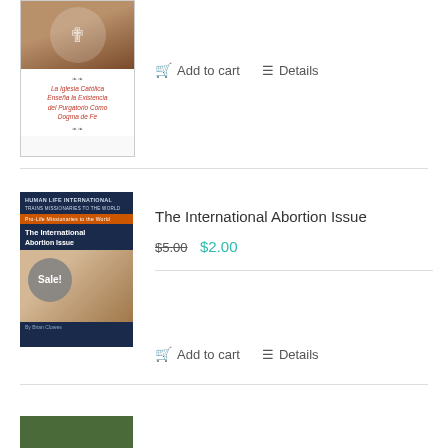[Figure (illustration): Book cover for 'La Iglesia Católica Enseña la Existencia del Purgatorio Como Dogma de Fe' with decorative religious imagery at top]
Add to cart   Details
The International Abortion Issue
$5.00  $2.00
[Figure (illustration): Book cover for 'The International Abortion Issue' by Human Life International, navy blue cover with Sale! badge overlay]
Add to cart   Details
[Figure (illustration): Partial green/nature book cover at bottom of page]